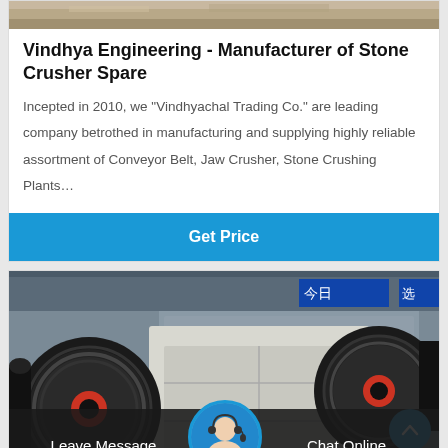[Figure (photo): Partial top image of a stone crushing site, sandy/earthy tones, visible at top of card]
Vindhya Engineering - Manufacturer of Stone Crusher Spare
Incepted in 2010, we "Vindhyachal Trading Co." are leading company betrothed in manufacturing and supplying highly reliable assortment of Conveyor Belt, Jaw Crusher, Stone Crushing Plants…
Get Price
[Figure (photo): Industrial jaw crusher machine with large black flywheels and white frame, photographed in a factory/warehouse setting with Chinese signage visible in background]
Leave Message
Chat Online